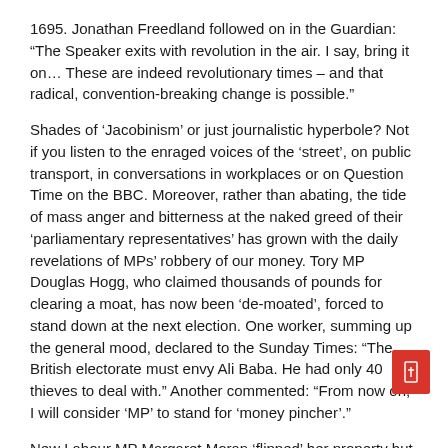1695. Jonathan Freedland followed on in the Guardian: “The Speaker exits with revolution in the air. I say, bring it on… These are indeed revolutionary times – and that radical, convention-breaking change is possible.”
Shades of ‘Jacobinism’ or just journalistic hyperbole? Not if you listen to the enraged voices of the ‘street’, on public transport, in conversations in workplaces or on Question Time on the BBC. Moreover, rather than abating, the tide of mass anger and bitterness at the naked greed of their ‘parliamentary representatives’ has grown with the daily revelations of MPs’ robbery of our money. Tory MP Douglas Hogg, who claimed thousands of pounds for clearing a moat, has now been ‘de-moated’, forced to stand down at the next election. One worker, summing up the general mood, declared to the Sunday Times: “The British electorate must envy Ali Baba. He had only 40 thieves to deal with.” Another commented: “From now on, I will consider ‘MP’ to stand for ‘money pincher’.”
New Labour MP Margaret Moran ‘flipped’ her property but has